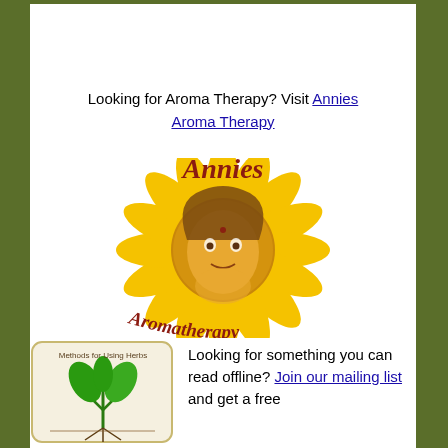Looking for Aroma Therapy? Visit Annies Aroma Therapy
[Figure (logo): Annies Aromatherapy logo: a sunflower with a woman's face in the center, text 'Annies' above and 'Aromatherapy' below in dark red italic lettering]
[Figure (illustration): Book cover for 'Methods for Using Herbs' showing a green plant/seedling]
Looking for something you can read offline? Join our mailing list and get a free